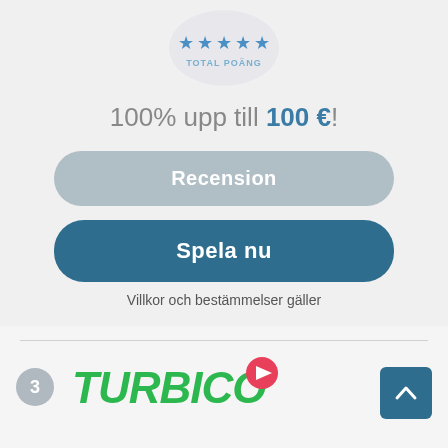[Figure (illustration): Star rating badge with 5 blue stars and 'TOTAL POÄNG' label inside a light circle]
100% upp till 100 €!
Recension
Spela nu
Villkor och bestämmelser gäller
[Figure (logo): Turbico casino logo with green italic text and red play button icon, number badge '3' to the left]